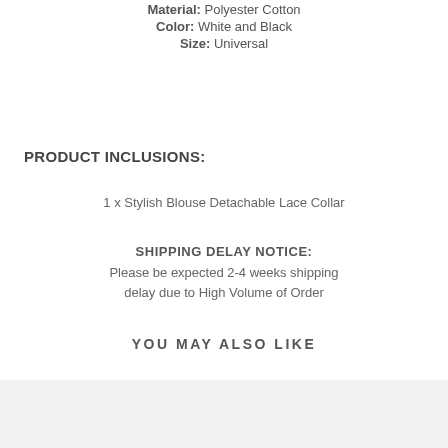Material: Polyester Cotton
Color: White and Black
Size: Universal
PRODUCT INCLUSIONS:
1 x Stylish Blouse Detachable Lace Collar
SHIPPING DELAY NOTICE: Please be expected 2-4 weeks shipping delay due to High Volume of Order
YOU MAY ALSO LIKE